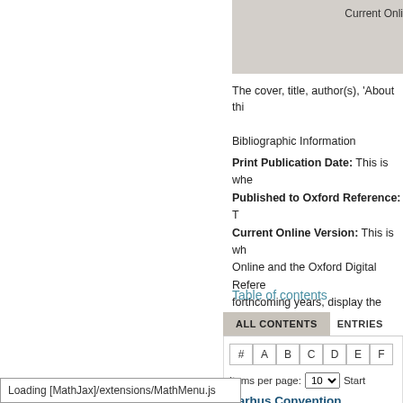[Figure (screenshot): Top gray bar with 'Current Online' text visible at right edge]
The cover, title, author(s), 'About thi...
Bibliographic Information
Print Publication Date: This is whe... Published to Oxford Reference: T... Current Online Version: This is wh... Online and the Oxford Digital Refere... forthcoming years, display the date...
Table of contents
[Figure (screenshot): Tab interface with ALL CONTENTS and ENTRIES tabs, alpha navigation (#, A, B, C, D, E, F...), items per page selector set to 10, and Aarhus Convention link]
Loading [MathJax]/extensions/MathMenu.js